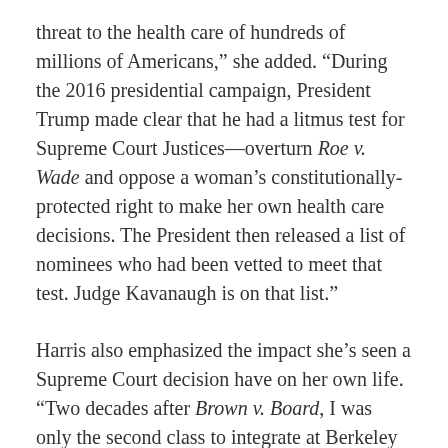threat to the health care of hundreds of millions of Americans,” she added. “During the 2016 presidential campaign, President Trump made clear that he had a litmus test for Supreme Court Justices—overturn Roe v. Wade and oppose a woman’s constitutionally-protected right to make her own health care decisions. The President then released a list of nominees who had been vetted to meet that test. Judge Kavanaugh is on that list.”
Harris also emphasized the impact she’s seen a Supreme Court decision have on her own life. “Two decades after Brown v. Board, I was only the second class to integrate at Berkeley public schools,” she wrote.